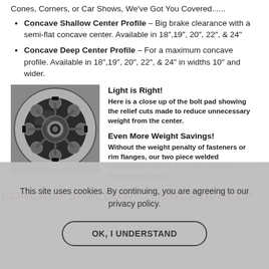Cones, Corners, or Car Shows, We've Got You Covered......
Concave Shallow Center Profile – Big brake clearance with a semi-flat concave center. Available in 18",19", 20", 22", & 24"
Concave Deep Center Profile – For a maximum concave profile. Available in 18",19", 20", 22", & 24" in widths 10" and wider.
[Figure (photo): Close up photo of a car wheel hub/center showing bolt pads with relief cuts, machined aluminum finish, black and silver tones]
Light is Right!
Here is a close up of the bolt pad showing the relief cuts made to reduce unnecessary weight from the center.
Even More Weight Savings!
Without the weight penalty of fasteners or rim flanges, our two piece welded construction saves even more weight over a three piece wheel.
CONCAVE SHALLOW   CONCAVE DEEP
This site uses cookies. By continuing, you are agreeing to our privacy policy.
OK, I UNDERSTAND